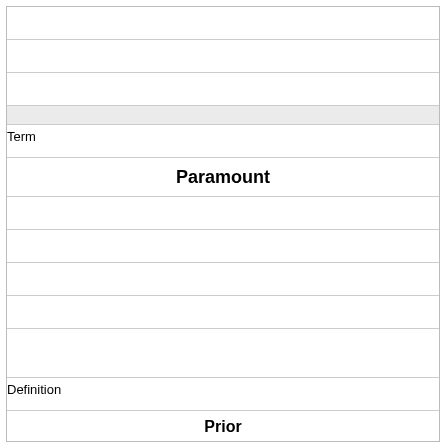|  |
|  |
|  |
| (shaded) |
| Term |
| Paramount |
|  |
|  |
|  |
|  |
|  |
| Definition |
| Prior |
| Leading |
| Principal |
| First |
|  |